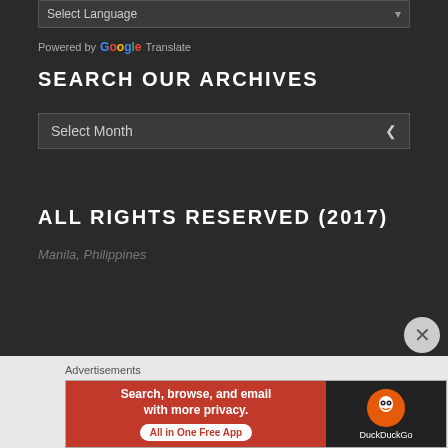Select Language ▾
Powered by Google Translate
SEARCH OUR ARCHIVES
Select Month ❯
ALL RIGHTS RESERVED (2017)
Manila, Philippines
Advertisements
[Figure (screenshot): DuckDuckGo advertisement banner: orange/red left side with text 'Search, browse, and email with more privacy. All in One Free App' and dark right side with DuckDuckGo duck logo and brand name.]